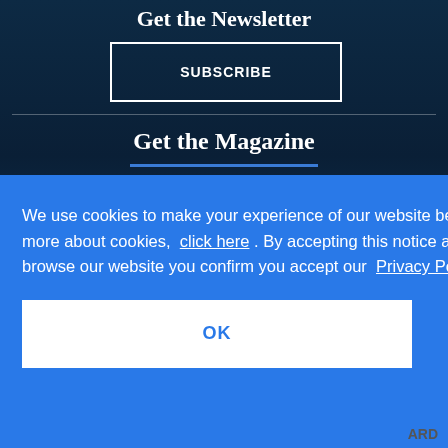Get the Newsletter
SUBSCRIBE
Get the Magazine
We use cookies to make your experience of our website better. To find out more about cookies, click here . By accepting this notice and continuing to browse our website you confirm you accept our Privacy Policy
OK
ARD